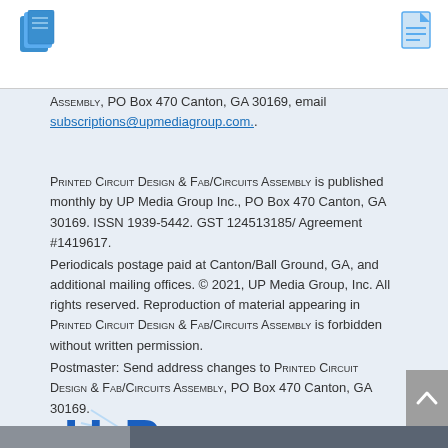Icons header bar
Assembly, PO Box 470 Canton, GA 30169, email subscriptions@upmediagroup.com..
Printed Circuit Design & Fab/Circuits Assembly is published monthly by UP Media Group Inc., PO Box 470 Canton, GA 30169. ISSN 1939-5442. GST 124513185/ Agreement #1419617.
Periodicals postage paid at Canton/Ball Ground, GA, and additional mailing offices. © 2021, UP Media Group, Inc. All rights reserved. Reproduction of material appearing in Printed Circuit Design & Fab/Circuits Assembly is forbidden without written permission.
Postmaster: Send address changes to Printed Circuit Design & Fab/Circuits Assembly, PO Box 470 Canton, GA 30169.
[Figure (logo): UP Media Group logo with bold blue letters UP and starburst effect, with 'Media Group' in bold blue text below]